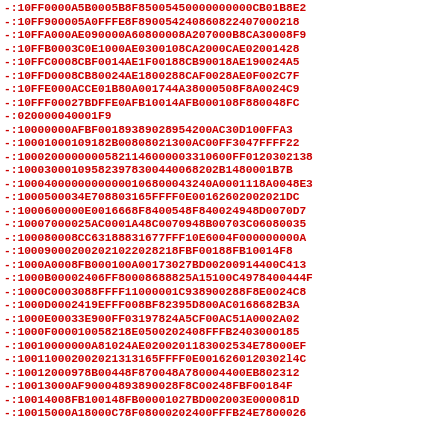Hex dump / binary data listing in red monospace font